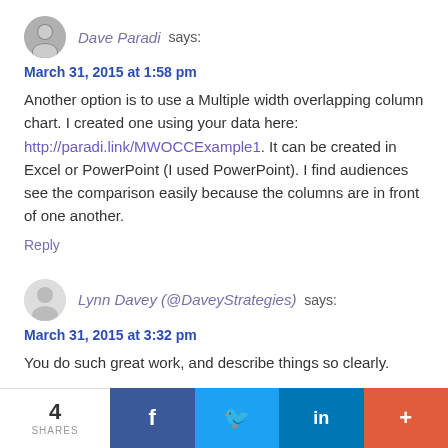Dave Paradi says:
March 31, 2015 at 1:58 pm
Another option is to use a Multiple width overlapping column chart. I created one using your data here: http://paradi.link/MWOCCExample1. It can be created in Excel or PowerPoint (I used PowerPoint). I find audiences see the comparison easily because the columns are in front of one another.
Reply
Lynn Davey (@DaveyStrategies) says:
March 31, 2015 at 3:32 pm
You do such great work, and describe things so clearly.
4 SHARES